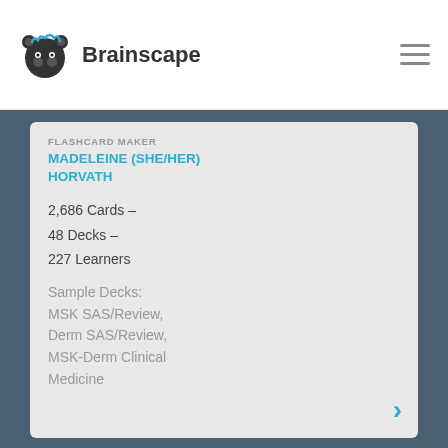[Figure (logo): Brainscape logo with brain-wave bear icon and text 'Brainscape']
FLASHCARD MAKER
MADELEINE (SHE/HER) HORVATH
2,686 Cards – 48 Decks – 227 Learners
Sample Decks: MSK SAS/Review, Derm SAS/Review, MSK-Derm Clinical Medicine
Circulation Review H&N
Circulation